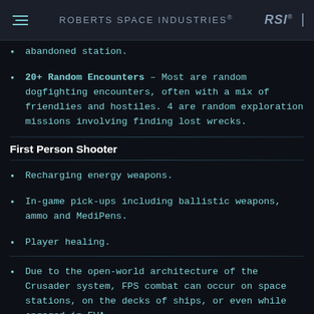ROBERTS SPACE INDUSTRIES® RSI®
abandoned station.
20+ Random Encounters – Most are random dogfighting encounters, often with a mix of friendlies and hostiles. 4 are random exploration missions involving finding lost wrecks.
First Person Shooter
Recharging energy weapons.
In-game pick-ups including ballistic weapons, ammo and MediPens.
Player healing.
Due to the open-world architecture of the Crusader system, FPS combat can occur on space stations, on the decks of ships, or even while engaged in EVA.
A space station location specifically designed for and dedicated to FPS combat, including...